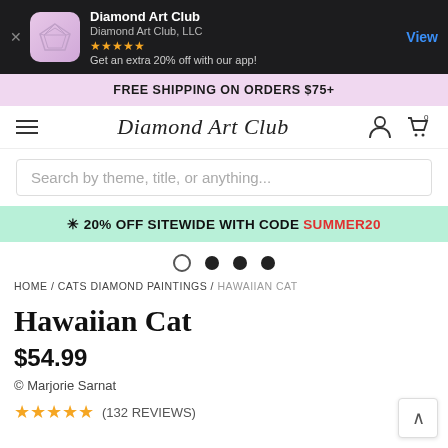[Figure (screenshot): App store banner for Diamond Art Club app with icon, name, company, stars, promo text, and View button on dark background]
FREE SHIPPING ON ORDERS $75+
[Figure (screenshot): Navigation bar with hamburger menu, Diamond Art Club script logo, user icon, and cart icon with 0 badge]
Search by theme, title, or anything...
✳︎ 20% OFF SITEWIDE WITH CODE SUMMER20
[Figure (other): Carousel pagination dots: one empty circle, three filled circles]
HOME / CATS DIAMOND PAINTINGS / HAWAIIAN CAT
Hawaiian Cat
$54.99
© Marjorie Sarnat
★★★★★ (132 REVIEWS)